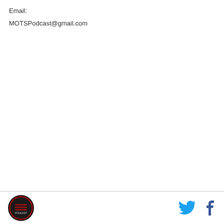Email:
MOTSPodcast@gmail.com
Logo and social media icons (Twitter, Facebook)